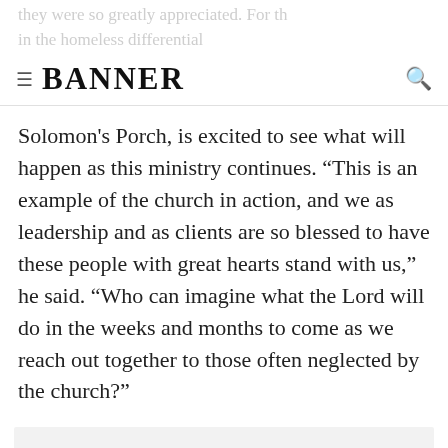BANNER
Solomon's Porch, is excited to see what will happen as this ministry continues. “This is an example of the church in action, and we as leadership and as clients are so blessed to have these people with great hearts stand with us,” he said. “Who can imagine what the Lord will do in the weeks and months to come as we reach out together to those often neglected by the church?”
About the Author